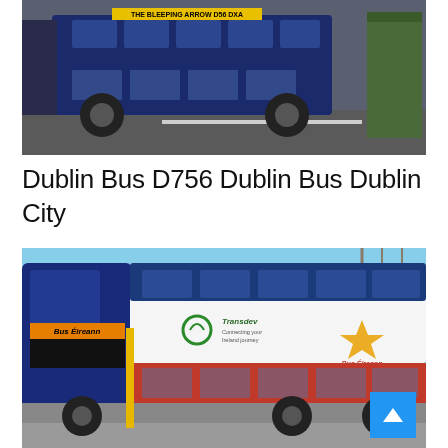[Figure (photo): Photo of Dublin Bus D756 on a road, dark blue double-decker bus with yellow destination sign, green refuse bin visible on right side]
Dublin Bus D756 Dublin Bus Dublin City
[Figure (photo): Photo of a Bus Éireann double-decker bus with white and blue upper deck and red lower deck, showing Bus Éireann livery and star logo, blue sky background. A scroll-to-top button is overlaid in the bottom right corner.]